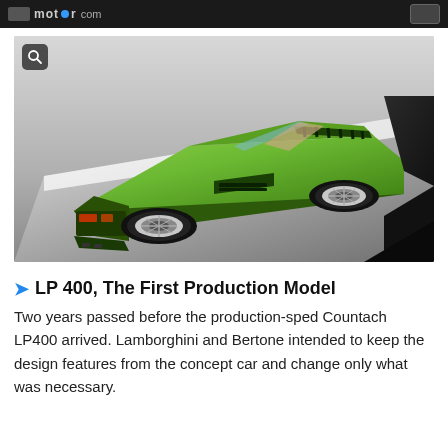motor.com
[Figure (photo): A green Lamborghini Countach LP400 photographed from the rear three-quarter angle in a studio setting, showing the iconic wedge shape, louvered engine cover, and wide rear tires.]
LP 400, The First Production Model
Two years passed before the production-sped Countach LP400 arrived. Lamborghini and Bertone intended to keep the design features from the concept car and change only what was necessary.